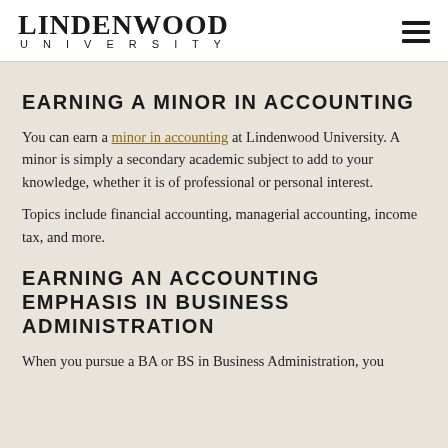LINDENWOOD UNIVERSITY
EARNING A MINOR IN ACCOUNTING
You can earn a minor in accounting at Lindenwood University. A minor is simply a secondary academic subject to add to your knowledge, whether it is of professional or personal interest.
Topics include financial accounting, managerial accounting, income tax, and more.
EARNING AN ACCOUNTING EMPHASIS IN BUSINESS ADMINISTRATION
When you pursue a BA or BS in Business Administration, you